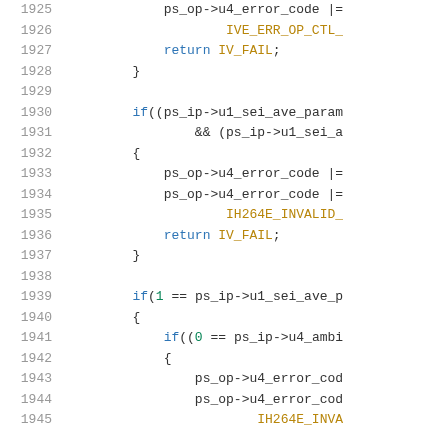[Figure (screenshot): Source code listing showing C/C++ code lines 1925-1945 with syntax highlighting. Line numbers in gray on left, keywords in blue, constants in dark yellow/olive, code in dark gray on white background.]